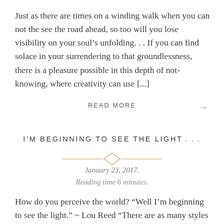Just as there are times on a winding walk when you can not the see the road ahead, so too will you lose visibility on your soul’s unfolding. . . If you can find solace in your surrendering to that groundlessness, there is a pleasure possible in this depth of not-knowing, where creativity can use [...]
READ MORE →
I’M BEGINNING TO SEE THE LIGHT…
January 23, 2017.
Reading time 6 minutes.
How do you perceive the world? “Well I’m beginning to see the light.” ~ Lou Reed “There are as many styles of